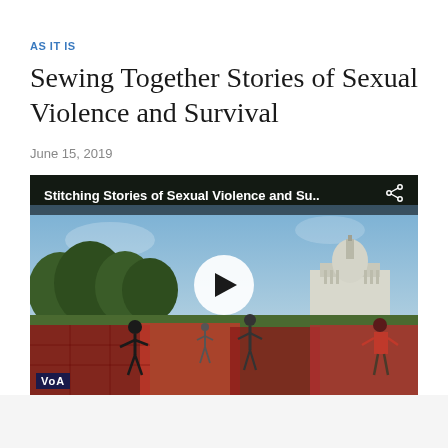AS IT IS
Sewing Together Stories of Sexual Violence and Survival
June 15, 2019
[Figure (screenshot): Video thumbnail showing people on the National Mall in Washington DC with the US Capitol Building visible in the background. The video title bar reads 'Stitching Stories of Sexual Violence and Su..' with a share icon. A white play button circle is centered on the image. A VOA bug is visible in the bottom left corner.]